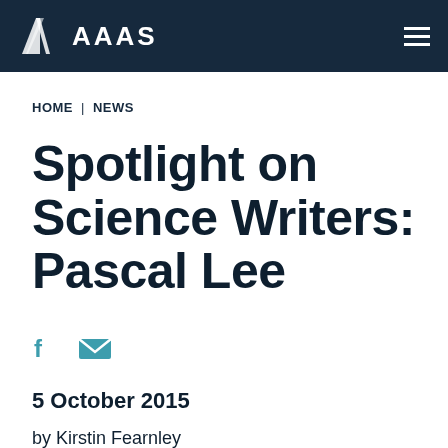AAAS
HOME | NEWS
Spotlight on Science Writers: Pascal Lee
[Figure (other): Facebook and email share icons in teal/cyan color]
5 October 2015
by Kirstin Fearnley